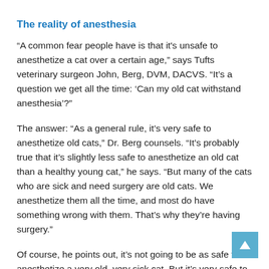The reality of anesthesia
“A common fear people have is that it's unsafe to anesthetize a cat over a certain age,” says Tufts veterinary surgeon John, Berg, DVM, DACVS. “It’s a question we get all the time: ‘Can my old cat withstand anesthesia’?”
The answer: “As a general rule, it’s very safe to anesthetize old cats,” Dr. Berg counsels. “It’s probably true that it’s slightly less safe to anesthetize an old cat than a healthy young cat,” he says. “But many of the cats who are sick and need surgery are old cats. We anesthetize them all the time, and most do have something wrong with them. That’s why they’re having surgery.”
Of course, he points out, it’s not going to be as safe to anesthetize a very old, very sick cat. But it’s very safe to